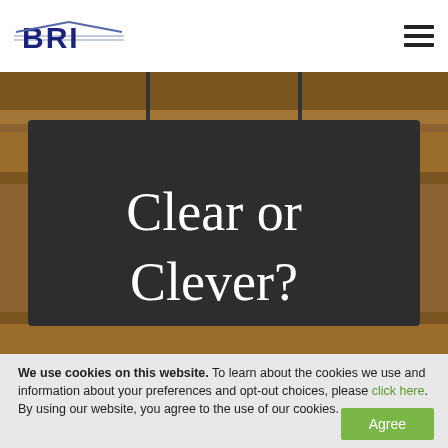[Figure (logo): BRI company logo with stylized horizontal lines and bold blue BRI text]
[Figure (photo): A dark chalkboard-style hanging sign reading 'Clear or Clever?' in white text, mounted on wooden planks background]
We use cookies on this website. To learn about the cookies we use and information about your preferences and opt-out choices, please click here. By using our website, you agree to the use of our cookies.